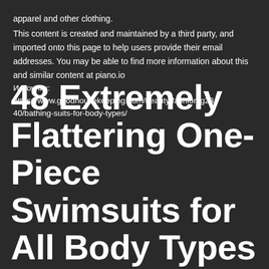apparel and other clothing.
This content is created and maintained by a third party, and imported onto this page to help users provide their email addresses. You may be able to find more information about this and similar content at piano.io
Источник:
https://www.goodhousekeeping.com/beauty/fashion/g2340/bathing-suits-for-body-types/
48 Extremely Flattering One-Piece Swimsuits for All Body Types